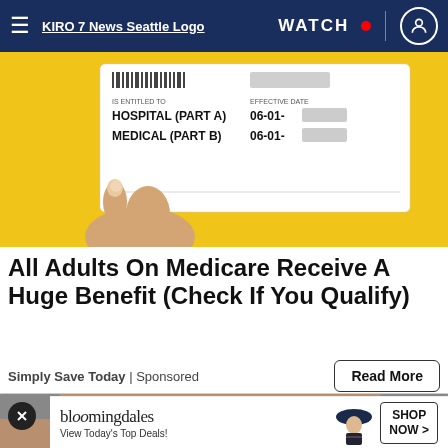KIRO 7 News Seattle | WATCH
[Figure (photo): Hand holding a Medicare card showing IS ENTITLED TO HOSPITAL (PART A) 06-01- [blurred] and MEDICAL (PART B) 06-01- [blurred] on a yellow background]
All Adults On Medicare Receive A Huge Benefit (Check If You Qualify)
Simply Save Today | Sponsored
[Figure (photo): Close-up of an older man's face with grey hair and pierced ear, partially visible]
[Figure (other): Bloomingdale's advertisement banner: 'View Today's Top Deals!' with SHOP NOW > button and model in hat]